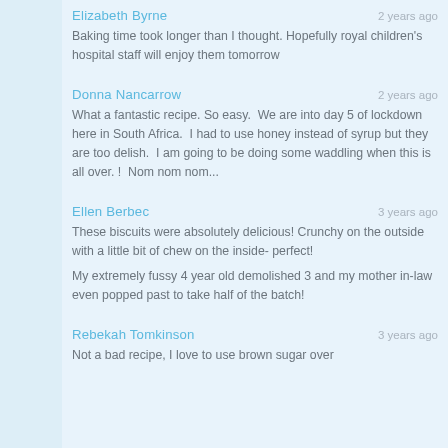Elizabeth Byrne
2 years ago
Baking time took longer than I thought. Hopefully royal children's hospital staff will enjoy them tomorrow
Donna Nancarrow
2 years ago
What a fantastic recipe. So easy.  We are into day 5 of lockdown here in South Africa.  I had to use honey instead of syrup but they are too delish.  I am going to be doing some waddling when this is all over. !  Nom nom nom...
Ellen Berbec
3 years ago
These biscuits were absolutely delicious! Crunchy on the outside with a little bit of chew on the inside- perfect!
My extremely fussy 4 year old demolished 3 and my mother in-law even popped past to take half of the batch!
Rebekah Tomkinson
3 years ago
Not a bad recipe, I love to use brown sugar over